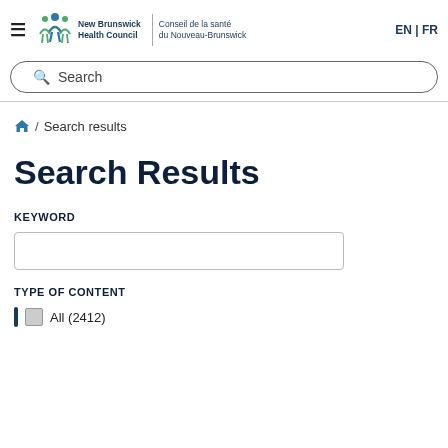New Brunswick Health Council | Conseil de la santé du Nouveau-Brunswick | EN | FR
[Figure (screenshot): Search bar with magnifying glass icon and placeholder text 'Search']
🏠 / Search results
Search Results
KEYWORD
[Figure (screenshot): Empty text input box for keyword search]
TYPE OF CONTENT
All (2412)